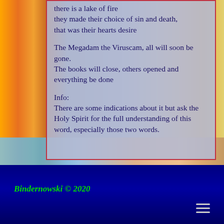there is a lake of fire
they made their choice of sin and death,
that was their hearts desire
The Megadam the Viruscam, all will soon be gone.
The books will close, others opened and everything be done
Info:
There are some indications about it but ask the Holy Spirit for the full understanding of this word, especially those two words.
Bindernowski © 2020